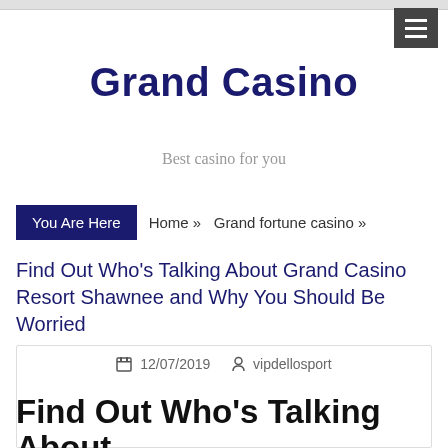Grand Casino — Best casino for you
Grand Casino
Best casino for you
You Are Here   Home »   Grand fortune casino »   Find Out Who's Talking About Grand Casino Resort Shawnee and Why You Should Be Worried
12/07/2019   vipdellosport
Find Out Who's Talking About